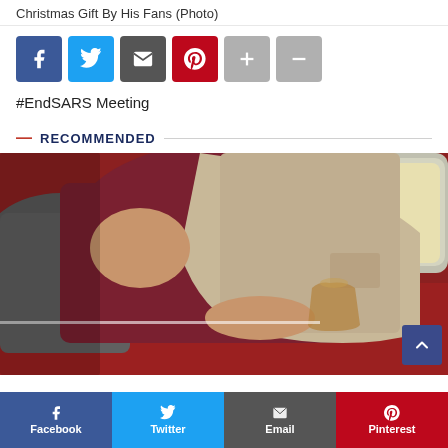Christmas Gift By His Fans (Photo)
[Figure (other): Social sharing buttons: Facebook (blue), Twitter (light blue), Email (dark gray), Pinterest (red), Plus (gray), Minus (gray)]
#EndSARS Meeting
— RECOMMENDED
[Figure (photo): A person in a maroon/dark red sweater and beige blazer slumped over a red surface with a glass of amber liquid, with a car visible in the background]
[Figure (other): Bottom social sharing bar with Facebook, Twitter, Email, and Pinterest buttons]